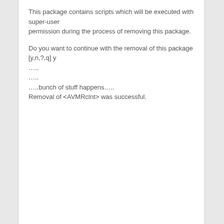This package contains scripts which will be executed with super-user permission during the process of removing this package.
Do you want to continue with the removal of this package [y,n,?,q] y
…..
…..
…..bunch of stuff happens…..
Removal of <AVMRclnt> was successful.